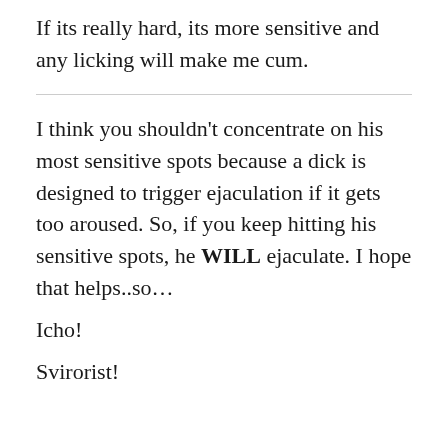If its really hard, its more sensitive and any licking will make me cum.
I think you shouldn't concentrate on his most sensitive spots because a dick is designed to trigger ejaculation if it gets too aroused. So, if you keep hitting his sensitive spots, he WILL ejaculate. I hope that helps..so…
Icho!
Svirorist!